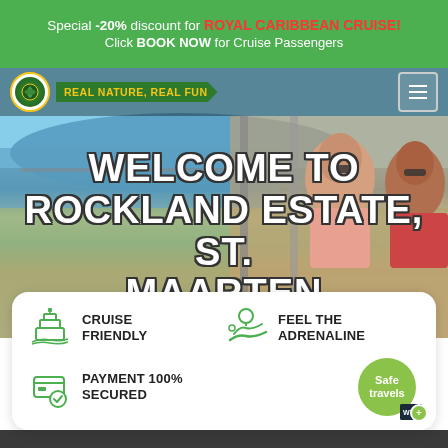Special -20% discount for ROYAL CARIBBEAN CRUISE! Click BOOK NOW for Cruise Passengers
[Figure (screenshot): Website header with logo circle, 'REAL NATURE, REAL FUN' brand text on green ribbon, and hamburger menu icon]
WELCOME TO ROCKLAND ESTATE, ST. MAARTEN
[Figure (photo): Two women sitting on what appears to be a ski lift or cable car ride, smiling, with ocean/bay and landscape visible below]
CRUISE FRIENDLY
FEEL THE ADRENALINE
PAYMENT 100% SECURED
[Figure (logo): Safe travels badge - green circle with 'Safe travels' text and WTTC certification mark]